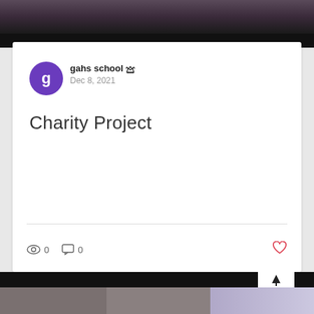[Figure (photo): Top portion of a photo showing people at an event against a dark background]
gahs school 👑
Dec 8, 2021
Charity Project
0 views  0 comments  ♡ like
[Figure (photo): Bottom cropped photo showing people, partially visible, with dark top bar and arrow-up button]